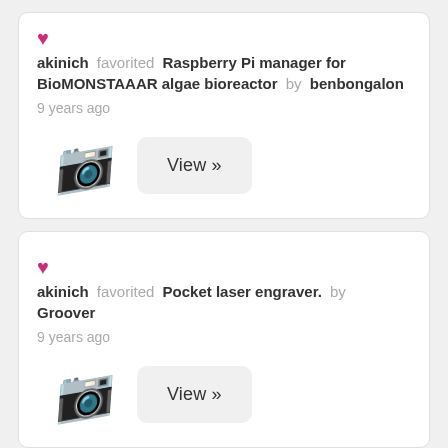akinich favorited Raspberry Pi manager for BioMONSTAAAR algae bioreactor by benbongalon
9 years ago
View »
akinich favorited Pocket laser engraver. by Groover
9 years ago
View »